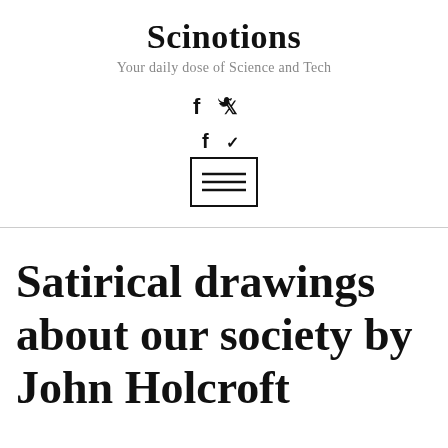Scinotions
Your daily dose of Science and Tech
[Figure (other): Social media icons: Facebook (f) and Twitter (bird) icons, and a hamburger menu button icon]
Satirical drawings about our society by John Holcroft